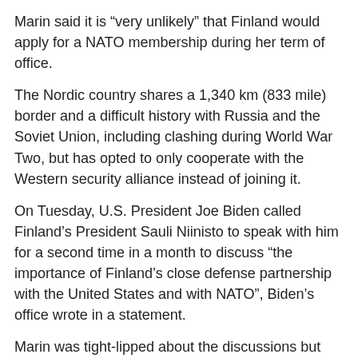Marin said it is “very unlikely” that Finland would apply for a NATO membership during her term of office.
The Nordic country shares a 1,340 km (833 mile) border and a difficult history with Russia and the Soviet Union, including clashing during World War Two, but has opted to only cooperate with the Western security alliance instead of joining it.
On Tuesday, U.S. President Joe Biden called Finland’s President Sauli Niinisto to speak with him for a second time in a month to discuss “the importance of Finland’s close defense partnership with the United States and with NATO”, Biden’s office wrote in a statement.
Marin was tight-lipped about the discussions but said she believed other countries appreciated the fact that Finland had long maintained “functional” relationships with Russia.
Marin said Finland remained firm on its previous stance that it has the right to join NATO one day if it so decides.